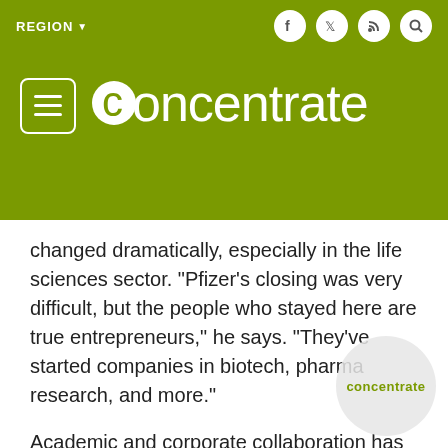REGION  concentrate
changed dramatically, especially in the life sciences sector. "Pfizer's closing was very difficult, but the people who stayed here are true entrepreneurs," he says. "They've started companies in biotech, pharma research, and more."
Academic and corporate collaboration has improved. New government and nonprofit agencies are creating a strong support network for entrepreneurs - groups such as Ann Arbor SPARK, Michigan Economic Development Corporation, Southwest Michigan First, MichBio and the Michigan Venture...